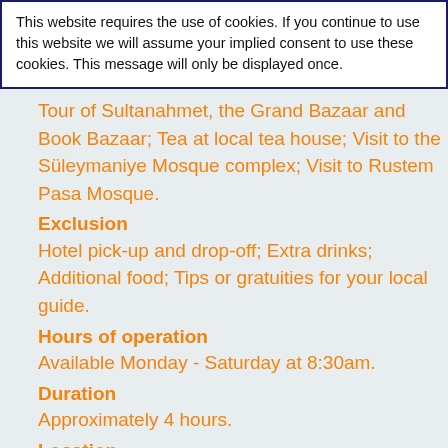This website requires the use of cookies. If you continue to use this website we will assume your implied consent to use these cookies. This message will only be displayed once.
Tour of Sultanahmet, the Grand Bazaar and Book Bazaar; Tea at local tea house; Visit to the Süleymaniye Mosque complex; Visit to Rustem Pasa Mosque.
Exclusion
Hotel pick-up and drop-off; Extra drinks; Additional food; Tips or gratuities for your local guide.
Hours of operation
Available Monday - Saturday at 8:30am.
Duration
Approximately 4 hours.
Location
Meeting point: Pudding Shop Lale Restaurant, Divanyolu.